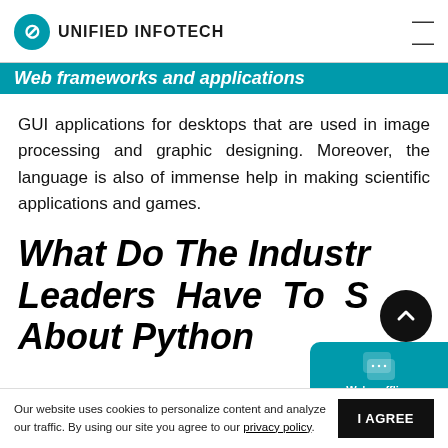UNIFIED INFOTECH
Web frameworks and applications
GUI applications for desktops that are used in image processing and graphic designing. Moreover, the language is also of immense help in making scientific applications and games.
What Do The Industry Leaders Have To Say About Python
Our website uses cookies to personalize content and analyze our traffic. By using our site you agree to our privacy policy.